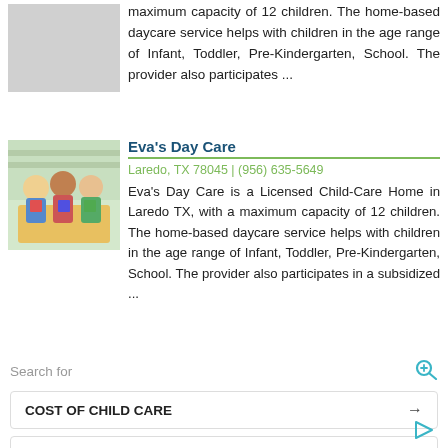maximum capacity of 12 children. The home-based daycare service helps with children in the age range of Infant, Toddler, Pre-Kindergarten, School. The provider also participates ...
[Figure (photo): Photo of children playing at a daycare, toddlers at a table with colorful toys]
Eva's Day Care
Laredo, TX 78045 | (956) 635-5649
Eva's Day Care is a Licensed Child-Care Home in Laredo TX, with a maximum capacity of 12 children. The home-based daycare service helps with children in the age range of Infant, Toddler, Pre-Kindergarten, School. The provider also participates in a subsidized ...
Search for
COST OF CHILD CARE
COST OF DAYCARE